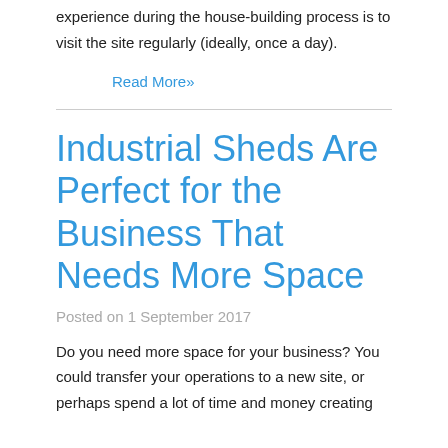experience during the house-building process is to visit the site regularly (ideally, once a day).
Read More»
Industrial Sheds Are Perfect for the Business That Needs More Space
Posted on 1 September 2017
Do you need more space for your business? You could transfer your operations to a new site, or perhaps spend a lot of time and money creating